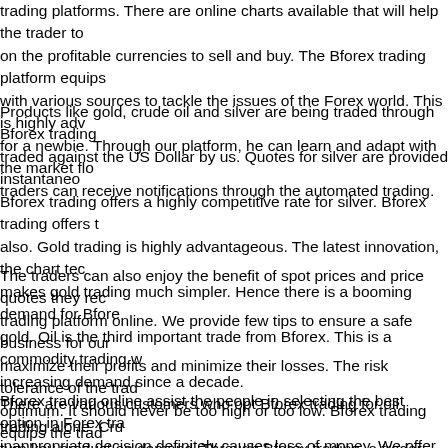trading platforms. There are online charts available that will help the trader to on the profitable currencies to sell and buy. The Bforex trading platform equips with various sources to tackle the issues of the Forex world. This is highly adv for a newbie. Through our platform, he can learn and adapt with the market flo traders can receive notifications through the automated trading.
Products like gold, crude oil and silver are being traded through Bforex trading traded against the US Dollar by us. Quotes for silver are provided instantaneo Bforex trading offers a highly competitive rate for silver. Bforex trading offers t also. Gold trading is highly advantageous. The latest innovation, the chart tec makes gold trading much simpler. Hence there is a booming demand for Bfore gold. Oil is the third important trade from Bforex. This is a commodity trading w increasing demand since a decade. There are various customers who opt Bforex trading for oil trading alone. Cru turn key product on demand. Through Bforex trading, a trader can update him latest trends and changes in the foreign exchange market.
The traders can also enjoy the benefit of spot prices and price quotes they rec trading platform online. We provide few tips to ensure a safe business for our maximize their profits and minimize their losses. The risk tolerance of the trad optimum. It should never be too high or too low. Bforex trading equips the trad analyse and estimate the time and money involved in a specific trade.
Bforex trading online assist the people in selecting the best option in Forex tra inappropriate decision definitely causes loss of money. We offer demo accoun